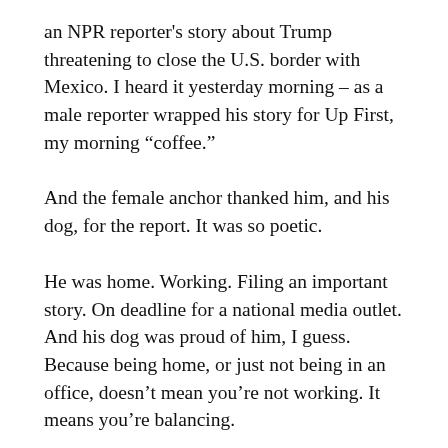an NPR reporter's story about Trump threatening to close the U.S. border with Mexico. I heard it yesterday morning – as a male reporter wrapped his story for Up First, my morning “coffee.”
And the female anchor thanked him, and his dog, for the report. It was so poetic.
He was home. Working. Filing an important story. On deadline for a national media outlet. And his dog was proud of him, I guess. Because being home, or just not being in an office, doesn’t mean you’re not working. It means you’re balancing.